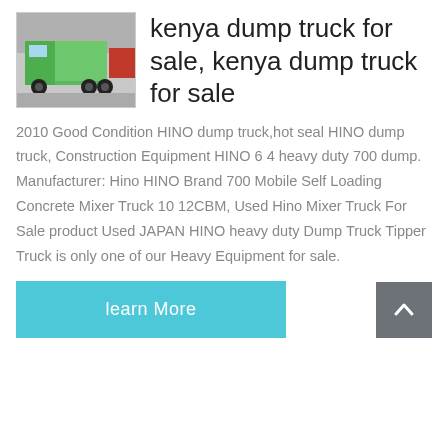[Figure (photo): Green HINO dump truck on display in an exhibition hall]
kenya dump truck for sale, kenya dump truck for sale
2010 Good Condition HINO dump truck,hot seal HINO dump truck, Construction Equipment HINO 6 4 heavy duty 700 dump. Manufacturer: Hino HINO Brand 700 Mobile Self Loading Concrete Mixer Truck 10 12CBM, Used Hino Mixer Truck For Sale product Used JAPAN HINO heavy duty Dump Truck Tipper Truck is only one of our Heavy Equipment for sale.
learn More